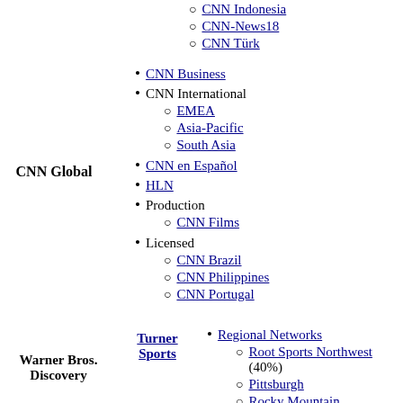CNN Indonesia
CNN-News18
CNN Türk
CNN Business
CNN Global
CNN International
EMEA
Asia-Pacific
South Asia
CNN en Español
HLN
Production
CNN Films
Licensed
CNN Brazil
CNN Philippines
CNN Portugal
Warner Bros. Discovery
Turner Sports
Regional Networks
Root Sports Northwest (40%)
Pittsburgh
Rocky Mountain
Southwest
Bleacher Report
NBA TV
MLB Network (16.67%)
Golf Digest